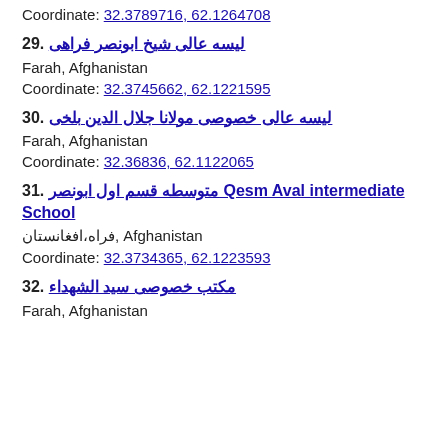Coordinate: 32.3789716, 62.1264708
29. لیسه عالی شیخ ابونصر فراهی
Farah, Afghanistan
Coordinate: 32.3745662, 62.1221595
30. لیسه عالی خصوصی مولانا جلال الدین بلخی
Farah, Afghanistan
Coordinate: 32.36836, 62.1122065
31. متوسطه قسم اول ابونصر Qesm Aval intermediate School
فراه،افغانستان, Afghanistan
Coordinate: 32.3734365, 62.1223593
32. مکتب خصوصی سید الشهداء
Farah, Afghanistan